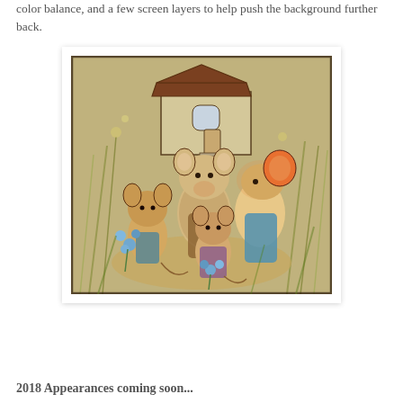color balance, and a few screen layers to help push the background further back.
[Figure (illustration): Illustrated scene of a family of anthropomorphic mice standing in front of a rustic house/barn, surrounded by tall grasses and flowers. The mice are holding blue flowers. The style is detailed comic book / children's book illustration with warm earthy tones and blue accent flowers.]
2018 Appearances coming soon...